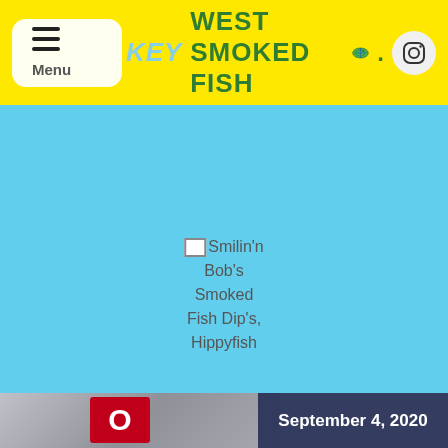KEY WEST SMOKED FISH CO.
[Figure (screenshot): Broken image placeholder with alt text: Smilin'n Bob's Smoked Fish Dip's, Hippyfish]
Latest News
[Figure (photo): Bottom strip photo showing a red sign and a date badge reading September 4, 2020]